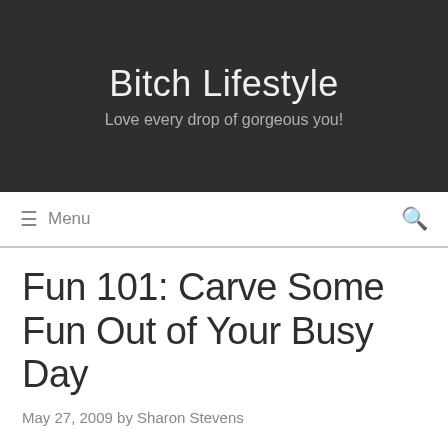Bitch Lifestyle
Love every drop of gorgeous you!
≡  Menu
Fun 101: Carve Some Fun Out of Your Busy Day
May 27, 2009 by Sharon Stevens
Gorgeous reader: I'm asking you to take a moment out